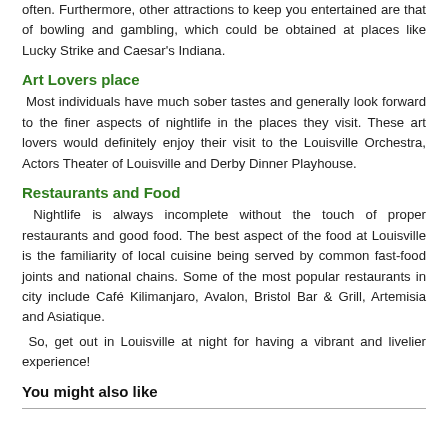often. Furthermore, other attractions to keep you entertained are that of bowling and gambling, which could be obtained at places like Lucky Strike and Caesar's Indiana.
Art Lovers place
Most individuals have much sober tastes and generally look forward to the finer aspects of nightlife in the places they visit. These art lovers would definitely enjoy their visit to the Louisville Orchestra, Actors Theater of Louisville and Derby Dinner Playhouse.
Restaurants and Food
Nightlife is always incomplete without the touch of proper restaurants and good food. The best aspect of the food at Louisville is the familiarity of local cuisine being served by common fast-food joints and national chains. Some of the most popular restaurants in city include Café Kilimanjaro, Avalon, Bristol Bar & Grill, Artemisia and Asiatique.
So, get out in Louisville at night for having a vibrant and livelier experience!
You might also like